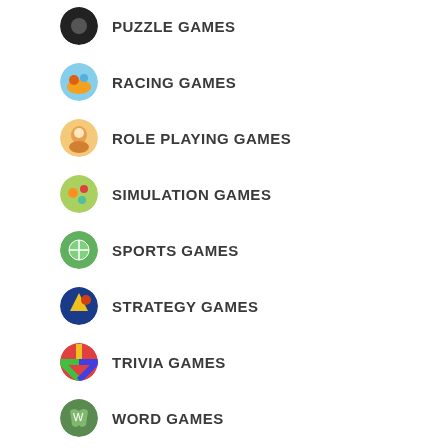PUZZLE GAMES
RACING GAMES
ROLE PLAYING GAMES
SIMULATION GAMES
SPORTS GAMES
STRATEGY GAMES
TRIVIA GAMES
WORD GAMES
Android App Categories
AUTO AND VEHICLES
BEAUTY
BUSINESS
COMMUNICATION